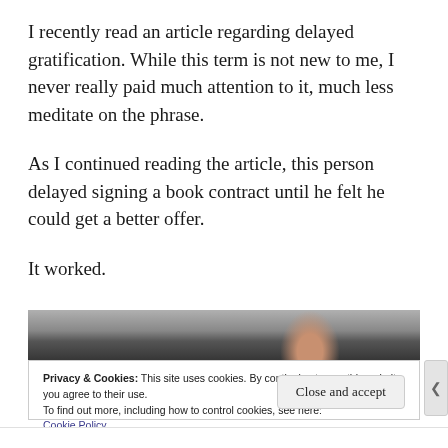I recently read an article regarding delayed gratification. While this term is not new to me, I never really paid much attention to it, much less meditate on the phrase.
As I continued reading the article, this person delayed signing a book contract until he felt he could get a better offer.
It worked.
[Figure (photo): Partial view of a person in dark suit/tie, cropped showing upper torso and hand area against grey background]
Privacy & Cookies: This site uses cookies. By continuing to use this website, you agree to their use.
To find out more, including how to control cookies, see here:
Cookie Policy